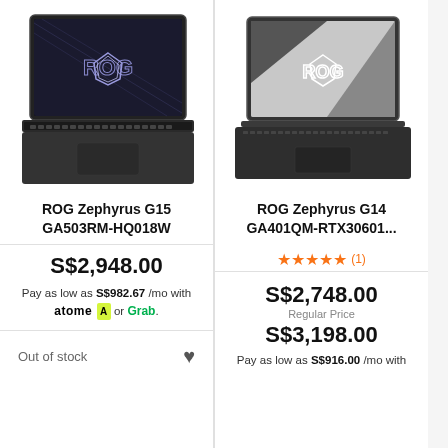[Figure (photo): ASUS ROG Zephyrus G15 laptop open, showing ROG logo on dark background screen]
ROG Zephyrus G15 GA503RM-HQ018W
S$2,948.00
Pay as low as S$982.67 /mo with atome or Grab.
Out of stock
[Figure (photo): ASUS ROG Zephyrus G14 laptop open, showing ROG logo on grey background screen]
ROG Zephyrus G14 GA401QM-RTX30601...
★★★★★ (1)
S$2,748.00
Regular Price
S$3,198.00
Pay as low as S$916.00 /mo with